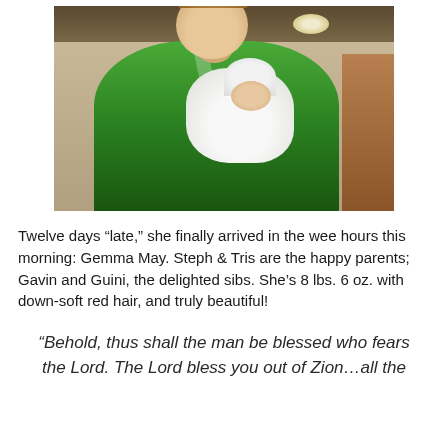[Figure (photo): A young man in a green hoodie smiling and holding a newborn baby wrapped in white blankets and wearing a white knit hat. The photo is taken indoors with beige walls and a wooden door visible in the background.]
Twelve days “late,” she finally arrived in the wee hours this morning: Gemma May. Steph & Tris are the happy parents; Gavin and Guini, the delighted sibs. She’s 8 lbs. 6 oz. with down-soft red hair, and truly beautiful!
“Behold, thus shall the man be blessed who fears the Lord. The Lord bless you out of Zion…all the